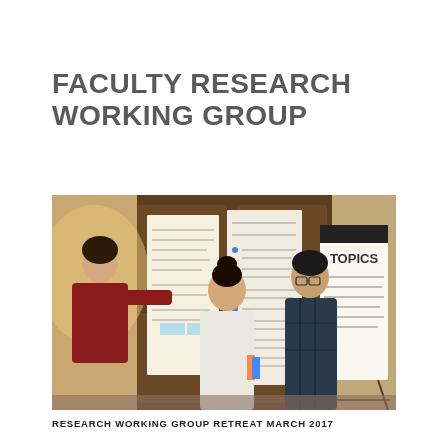FACULTY RESEARCH WORKING GROUP
[Figure (photo): Three people standing in front of large paper sheets posted on a wooden door, reviewing and discussing handwritten notes. A whiteboard easel on the right shows the word TOPICS with handwritten list items. The setting appears to be a workshop or retreat environment.]
RESEARCH WORKING GROUP RETREAT MARCH 2017